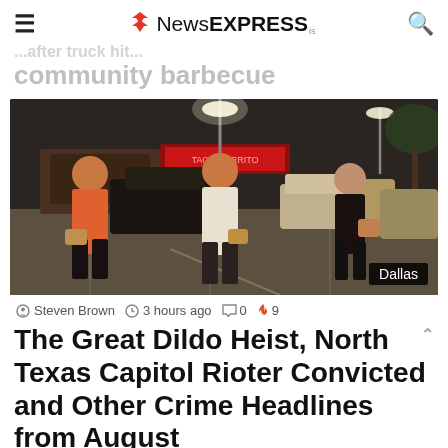NewsEXPRESS
community barbecue
[Figure (photo): Three women standing in a parking lot at night, with cars and illuminated storefronts in the background. A location label reads 'Dallas'.]
Steven Brown  3 hours ago  0  9
The Great Dildo Heist, North Texas Capitol Rioter Convicted and Other Crime Headlines from August